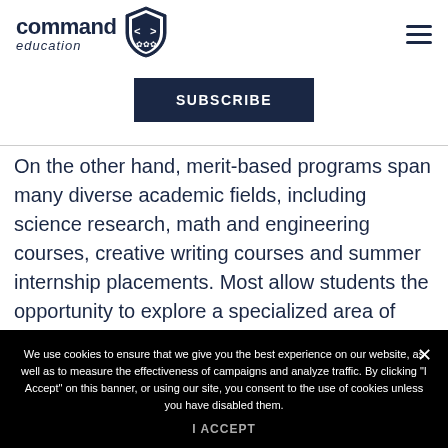[Figure (logo): Command Education logo with shield icon containing angle brackets and a crest]
SUBSCRIBE
On the other hand, merit-based programs span many diverse academic fields, including science research, math and engineering courses, creative writing courses and summer internship placements. Most allow students the opportunity to explore a specialized area of
We use cookies to ensure that we give you the best experience on our website, as well as to measure the effectiveness of campaigns and analyze traffic. By clicking "I Accept" on this banner, or using our site, you consent to the use of cookies unless you have disabled them.
I ACCEPT